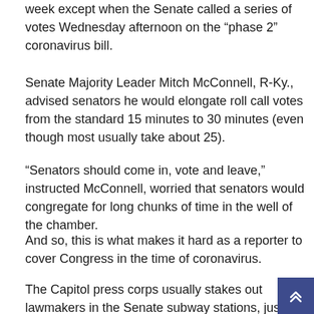week except when the Senate called a series of votes Wednesday afternoon on the “phase 2” coronavirus bill.
Senate Majority Leader Mitch McConnell, R-Ky., advised senators he would elongate roll call votes from the standard 15 minutes to 30 minutes (even though most usually take about 25).
“Senators should come in, vote and leave,” instructed McConnell, worried that senators would congregate for long chunks of time in the well of the chamber.
And so, this is what makes it hard as a reporter to cover Congress in the time of coronavirus.
The Capitol press corps usually stakes out lawmakers in the Senate subway stations, just off the floor, by committee rooms and in the Senate lobby. It’s not